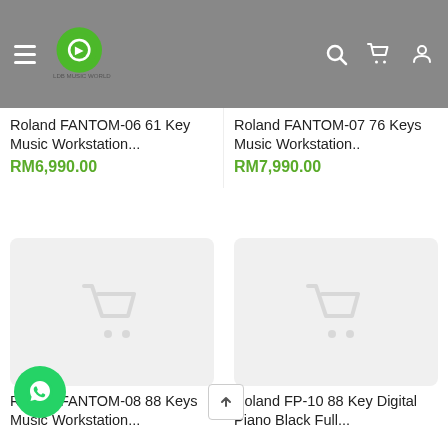LDB Music World
Roland FANTOM-06 61 Key Music Workstation...
RM6,990.00
Roland FANTOM-07 76 Keys Music Workstation..
RM7,990.00
[Figure (screenshot): Product image placeholder with cart icon for Roland FANTOM-08 88 Keys Music Workstation]
[Figure (screenshot): Product image placeholder with cart icon for Roland FP-10 88 Key Digital Piano Black Full]
Roland FANTOM-08 88 Keys Music Workstation...
Roland FP-10 88 Key Digital Piano Black Full...